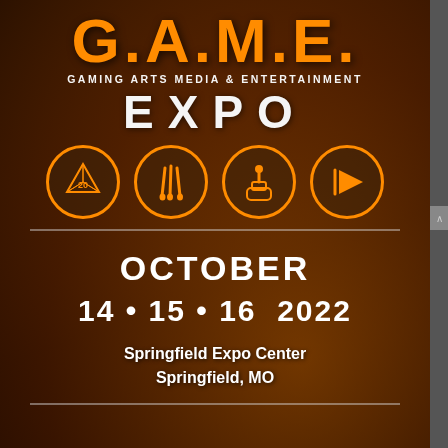[Figure (logo): G.A.M.E. Expo logo with orange text on dark orange/brown background with dice imagery. Shows 'G.A.M.E.' large letters, subtitle 'GAMING ARTS MEDIA & ENTERTAINMENT', 'EXPO' text, and four circular icons representing gaming (d20 die), art (paintbrushes), gaming (joystick), and media (play button).]
OCTOBER
14 • 15 • 16  2022
Springfield Expo Center
Springfield, MO